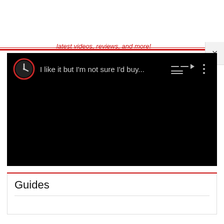latest videos, reviews, and more!
[Figure (screenshot): YouTube-style video player showing a dark/black video area with a clock icon (red circle with clock face), the title text 'I like it but I'm not sure I'd buy...', a playlist icon, and a three-dot menu icon in the top bar.]
Guides